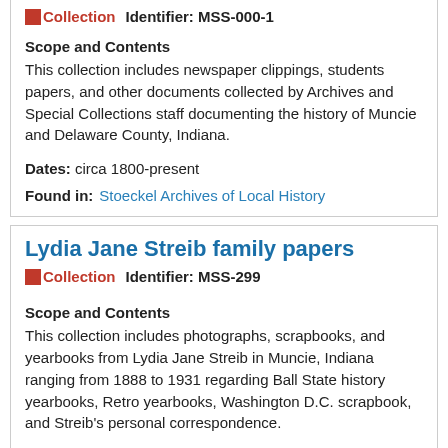Collection   Identifier: MSS-000-1
Scope and Contents
This collection includes newspaper clippings, students papers, and other documents collected by Archives and Special Collections staff documenting the history of Muncie and Delaware County, Indiana.
Dates: circa 1800-present
Found in: Stoeckel Archives of Local History
Lydia Jane Streib family papers
Collection   Identifier: MSS-299
Scope and Contents
This collection includes photographs, scrapbooks, and yearbooks from Lydia Jane Streib in Muncie, Indiana ranging from 1888 to 1931 regarding Ball State history yearbooks, Retro yearbooks, Washington D.C. scrapbook, and Streib's personal correspondence.
Dates: 1888, 1922-1934